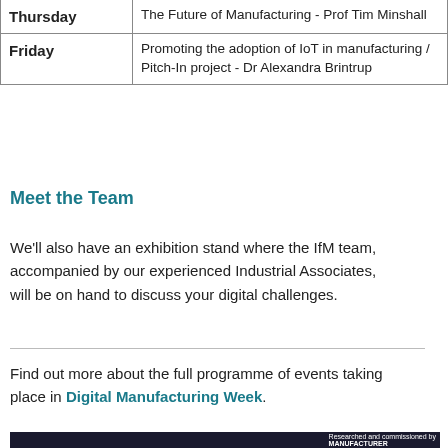| Day | Session |
| --- | --- |
| Thursday | The Future of Manufacturing - Prof Tim Minshall |
| Friday | Promoting the adoption of IoT in manufacturing / Pitch-In project - Dr Alexandra Brintrup |
Meet the Team
We'll also have an exhibition stand where the IfM team, accompanied by our experienced Industrial Associates, will be on hand to discuss your digital challenges.
Find out more about the full programme of events taking place in Digital Manufacturing Week.
[Figure (photo): Partial image of a dark photograph with a red 'The Manufacturer' logo in the lower right corner.]